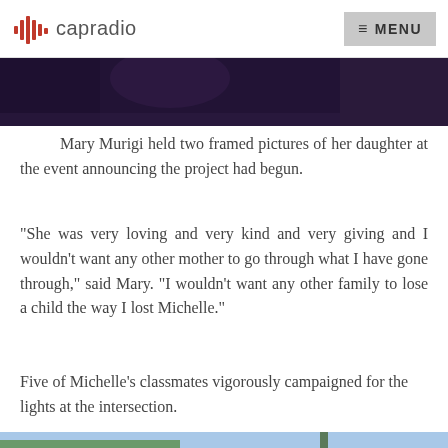capradio | MENU
[Figure (photo): Partial photo at top of page, appears to show a person at an event, cropped]
Mary Murigi held two framed pictures of her daughter at the event announcing the project had begun.
"She was very loving and very kind and very giving and I wouldn't want any other mother to go through what I have gone through," said Mary. "I wouldn't want any other family to lose a child the way I lost Michelle."
Five of Michelle's classmates vigorously campaigned for the lights at the intersection.
[Figure (photo): Street intersection photo showing a street lamp and street signs reading Frontridge and 58th, with trees and sky in the background]